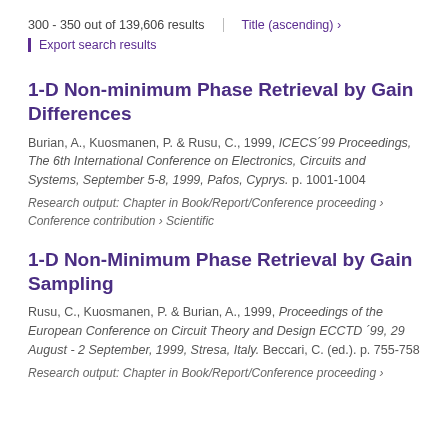300 - 350 out of 139,606 results | Title (ascending) ›
Export search results
1-D Non-minimum Phase Retrieval by Gain Differences
Burian, A., Kuosmanen, P. & Rusu, C., 1999, ICECS´99 Proceedings, The 6th International Conference on Electronics, Circuits and Systems, September 5-8, 1999, Pafos, Cyprys. p. 1001-1004
Research output: Chapter in Book/Report/Conference proceeding › Conference contribution › Scientific
1-D Non-Minimum Phase Retrieval by Gain Sampling
Rusu, C., Kuosmanen, P. & Burian, A., 1999, Proceedings of the European Conference on Circuit Theory and Design ECCTD ´99, 29 August - 2 September, 1999, Stresa, Italy. Beccari, C. (ed.). p. 755-758
Research output: Chapter in Book/Report/Conference proceeding ›